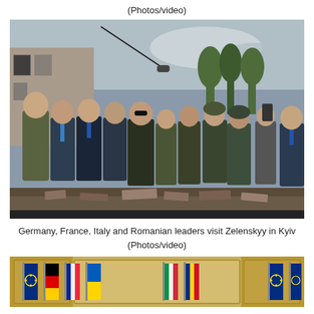(Photos/video)
[Figure (photo): Group of leaders and officials including European heads of state walking through war-damaged area in Kyiv, Ukraine, with military escorts, camera crews, and debris visible.]
Germany, France, Italy and Romanian leaders visit Zelenskyy in Kyiv (Photos/video)
[Figure (photo): Partial view of a formal meeting room with EU, German, French, Ukrainian, Italian and Romanian flags displayed, ornate golden decor visible.]